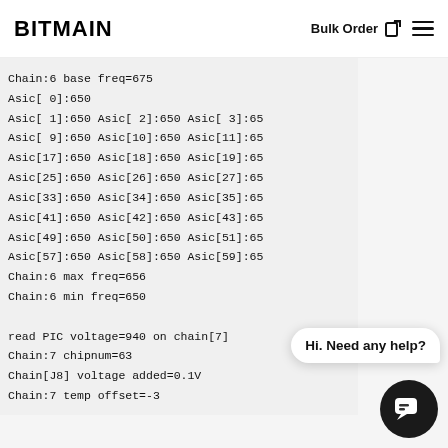BITMAIN   Bulk Order ☑ ☰
Chain:6 base freq=675
Asic[ 0]:650
Asic[ 1]:650 Asic[ 2]:650 Asic[ 3]:65
Asic[ 9]:650 Asic[10]:650 Asic[11]:65
Asic[17]:650 Asic[18]:650 Asic[19]:65
Asic[25]:650 Asic[26]:650 Asic[27]:65
Asic[33]:650 Asic[34]:650 Asic[35]:65
Asic[41]:650 Asic[42]:650 Asic[43]:65
Asic[49]:650 Asic[50]:650 Asic[51]:65
Asic[57]:650 Asic[58]:650 Asic[59]:65
Chain:6 max freq=656
Chain:6 min freq=650

read PIC voltage=940 on chain[7]
Chain:7 chipnum=63
Chain[J8] voltage added=0.1V
Chain:7 temp offset=-3